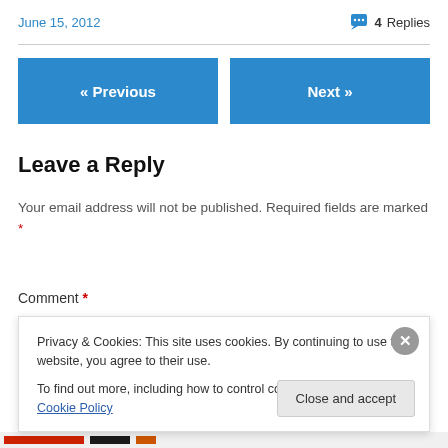June 15, 2012
4 Replies
« Previous
Next »
Leave a Reply
Your email address will not be published. Required fields are marked *
Comment *
Privacy & Cookies: This site uses cookies. By continuing to use this website, you agree to their use.
To find out more, including how to control cookies, see here: Cookie Policy